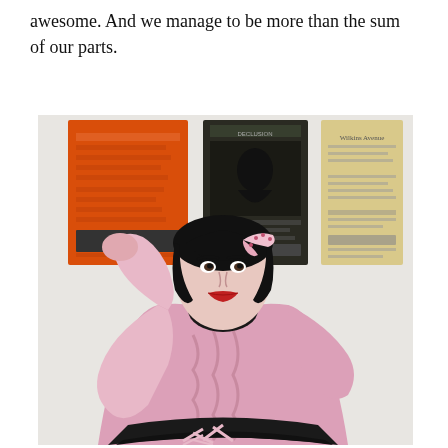awesome. And we manage to be more than the sum of our parts.
[Figure (photo): A young woman with black hair and red lipstick wearing a pink ruffled blouse, a dark patterned scarf, and a pink floral headband, sitting against a white wall with three posters (orange, dark green/black, and tan/yellow) mounted on it. She has one hand raised behind her head.]